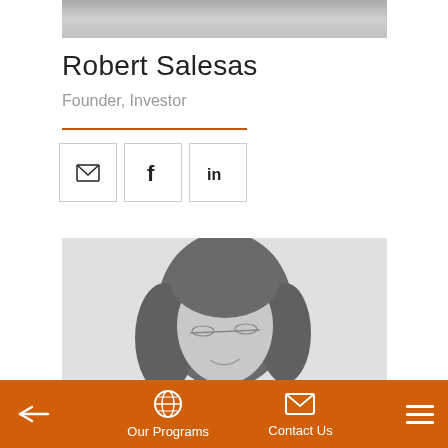[Figure (photo): Partial grayscale photo of Robert Salesas, cropped at top of page]
Robert Salesas
Founder, Investor
[Figure (infographic): Three social media icon buttons: email/envelope, Facebook (f), LinkedIn (in)]
[Figure (photo): Grayscale portrait photo of a woman with glasses and curly hair, smiling]
Our Programs   Contact Us